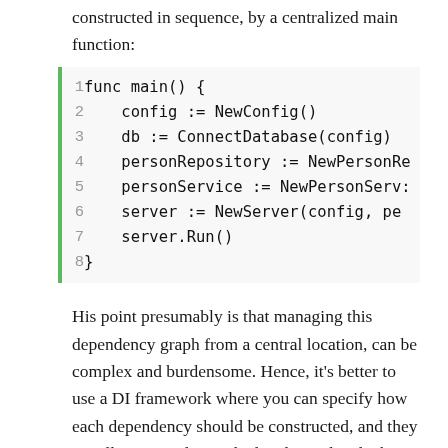constructed in sequence, by a centralized main function:
func main() {
    config := NewConfig()
    db := ConnectDatabase(config)
    personRepository := NewPersonRe
    personService := NewPersonServ:
    server := NewServer(config, pe
    server.Run()
}
His point presumably is that managing this dependency graph from a central location, can be complex and burdensome. Hence, it’s better to use a DI framework where you can specify how each dependency should be constructed, and they are all transitively invoked and initialized when needed.
I think that he is somewhat overstating the problems of constructor injection, but let’s assume for now that he’s